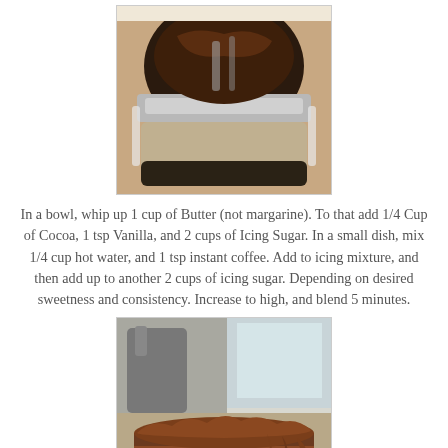[Figure (photo): Close-up photo of chocolate frosting/icing being mixed in a stand mixer bowl, showing dark chocolate mixture with metallic bowl edges]
In a bowl, whip up 1 cup of Butter (not margarine). To that add 1/4 Cup of Cocoa, 1 tsp Vanilla, and 2 cups of Icing Sugar. In a small dish, mix 1/4 cup hot water, and 1 tsp instant coffee. Add to icing mixture, and then add up to another 2 cups of icing sugar. Depending on desired sweetness and consistency. Increase to high, and blend 5 minutes.
[Figure (photo): Close-up photo of a layered chocolate cake covered with thick chocolate frosting, with decorative piped frosting visible on the side, set on a surface with a blurred kitchen background]